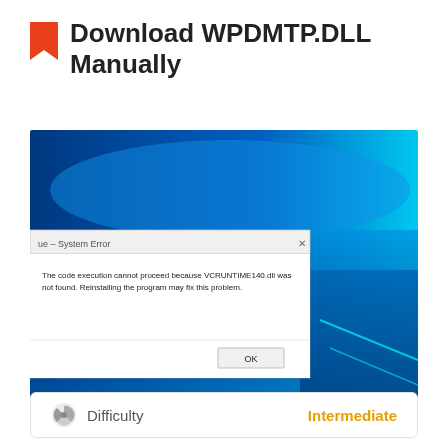Download WPDMTP.DLL Manually
[Figure (screenshot): Windows 10 desktop with a system error dialog box. The dialog says: 'The code execution cannot proceed because VCRUNTIME140.dll was not found. Reinstalling the program may fix this problem.' with an OK button.]
Difficulty   Intermediate